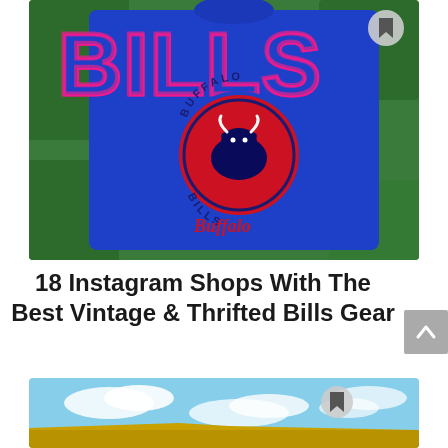[Figure (photo): Blue Buffalo Bills vintage t-shirt with 'BILLS' text and circular Buffalo Bills logo on grass background]
18 Instagram Shops With The Best Vintage & Thrifted Bills Gear
[Figure (photo): Partial view of a building roofline with blue cloudy sky in background]